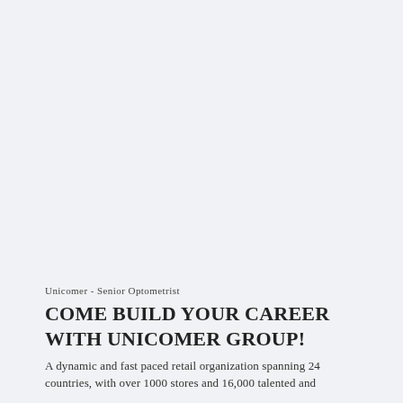Unicomer - Senior Optometrist
COME BUILD YOUR CAREER WITH UNICOMER GROUP!
A dynamic and fast paced retail organization spanning 24 countries, with over 1000 stores and 16,000 talented and